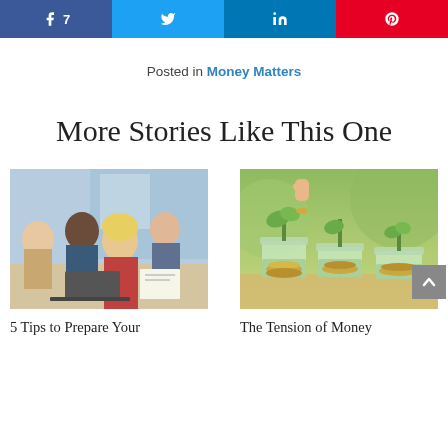Social share buttons: Facebook (7), Twitter, LinkedIn, Pinterest
Posted in Money Matters
More Stories Like This One
[Figure (photo): Group of business professionals at a meeting table with laptops and documents]
5 Tips to Prepare Your
[Figure (photo): Hand placing a coin into a glass jar with plants growing out of coins, symbolizing savings and investment growth]
The Tension of Money